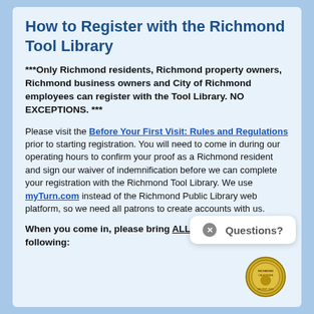How to Register with the Richmond Tool Library
***Only Richmond residents, Richmond property owners, Richmond business owners and City of Richmond employees can register with the Tool Library. NO EXCEPTIONS. ***
Please visit the Before Your First Visit: Rules and Regulations prior to starting registration. You will need to come in during our operating hours to confirm your proof as a Richmond resident and sign our waiver of indemnification before we can complete your registration with the Richmond Tool Library. We use myTurn.com instead of the Richmond Public Library web platform, so we need all patrons to create accounts with us.
When you come in, please bring ALL (3) THREE of the following: